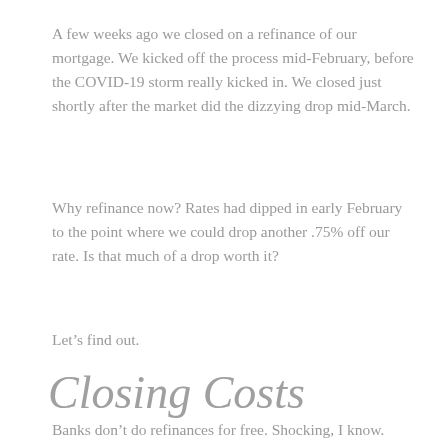A few weeks ago we closed on a refinance of our mortgage. We kicked off the process mid-February, before the COVID-19 storm really kicked in. We closed just shortly after the market did the dizzying drop mid-March.
Why refinance now? Rates had dipped in early February to the point where we could drop another .75% off our rate. Is that much of a drop worth it?
Let’s find out.
Closing Costs
Banks don’t do refinances for free. Shocking, I know.